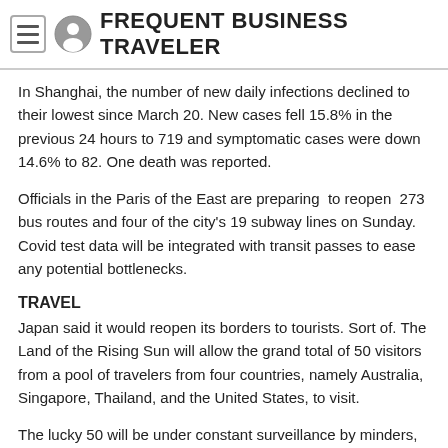FREQUENT BUSINESS TRAVELER
In Shanghai, the number of new daily infections declined to their lowest since March 20.  New cases fell 15.8% in the previous 24 hours to 719 and symptomatic cases were down 14.6% to 82.  One death was reported.
Officials in the Paris of the East are preparing  to reopen  273 bus routes and four of the city's 19 subway lines on Sunday.  Covid test data will be integrated with transit passes to ease any potential bottlenecks.
TRAVEL
Japan said it would reopen its borders to tourists.  Sort of.  The Land of the Rising Sun will allow the grand total of 50 visitors from a pool of travelers from four countries, namely Australia, Singapore, Thailand, and the United States, to visit.
The lucky 50 will be under constant surveillance by minders, however, monitoring their actions and emphasizing basic Covid-19 prevention measures, the Japan Tourism Agency's International Tourism Department said Wednesday.